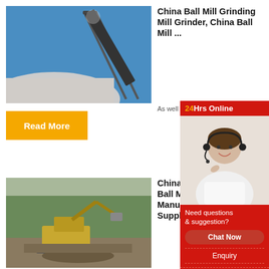[Figure (photo): Mining conveyor belt and rock pile against blue sky]
China Ball Mill Grinding Mill Grinder, China Ball Mill ...
As well as from kyrgyzsta
[Figure (other): 24Hrs Online customer support widget with agent photo, 'Need questions & suggestion?', Chat Now button, Enquiry link, limingjlmofen link]
Read More
[Figure (photo): Excavator and heavy machinery at mining site]
China C... Ball Mil... Manufa... Supplie...